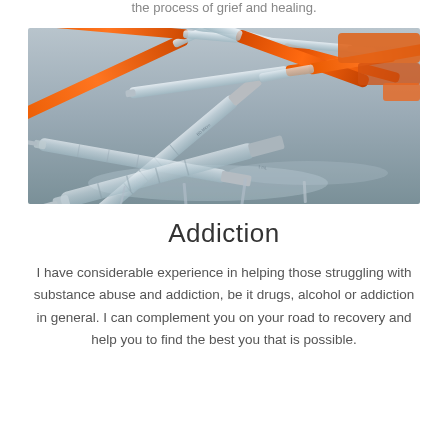the process of grief and healing.
[Figure (photo): Close-up photo of multiple medical syringes with orange caps scattered on a reflective surface]
Addiction
I have considerable experience in helping those struggling with substance abuse and addiction, be it drugs, alcohol or addiction in general. I can complement you on your road to recovery and help you to find the best you that is possible.